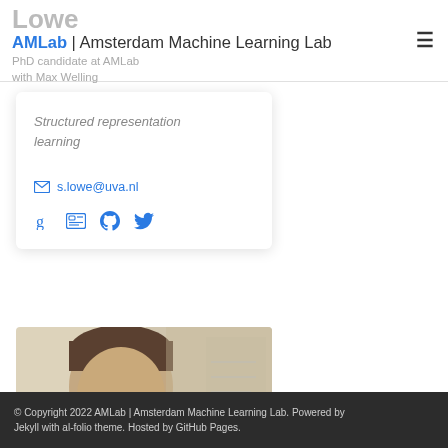Lowe | AMLab | Amsterdam Machine Learning Lab | PhD candidate at AMLab with Max Welling
Structured representation learning
s.lowe@uva.nl
[Figure (photo): Head-and-shoulders photo of a person against a light background]
© Copyright 2022 AMLab | Amsterdam Machine Learning Lab. Powered by Jekyll with al-folio theme. Hosted by GitHub Pages.